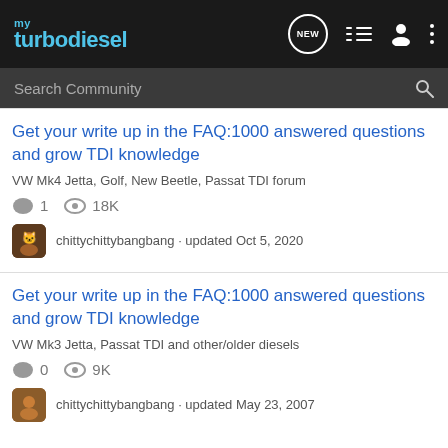my turbodiesel
Search Community
Get your write up in the FAQ:1000 answered questions and grow TDI knowledge
VW Mk4 Jetta, Golf, New Beetle, Passat TDI forum
1  18K
chittychittybangbang · updated Oct 5, 2020
Get your write up in the FAQ:1000 answered questions and grow TDI knowledge
VW Mk3 Jetta, Passat TDI and other/older diesels
0  9K
chittychittybangbang · updated May 23, 2007